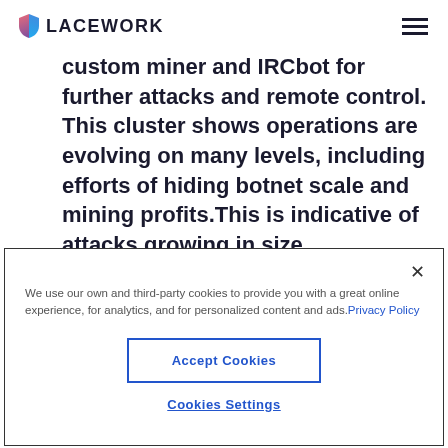LACEWORK
custom miner and IRCbot for further attacks and remote control. This cluster shows operations are evolving on many levels, including efforts of hiding botnet scale and mining profits. This is indicative of attacks growing in size
We use our own and third-party cookies to provide you with a great online experience, for analytics, and for personalized content and ads. Privacy Policy
Accept Cookies
Cookies Settings